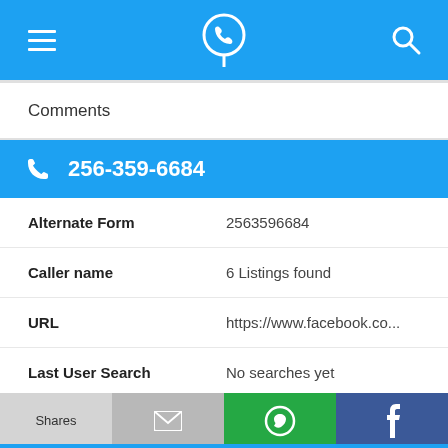[Figure (screenshot): Mobile app top navigation bar with menu icon, phone-location pin logo, and search icon on blue background]
Comments
256-359-6684
| Field | Value |
| --- | --- |
| Alternate Form | 2563596684 |
| Caller name | 6 Listings found |
| URL | https://www.facebook.co... |
| Last User Search | No searches yet |
Comments
[Figure (screenshot): Bottom action bar with four buttons: Shares (light grey), mail icon (grey), WhatsApp icon (green), Facebook icon (dark blue)]